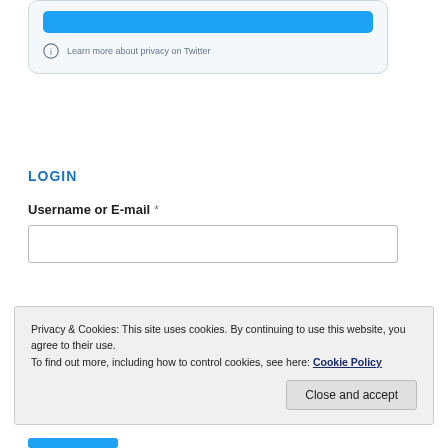[Figure (screenshot): Twitter sign-in card with blue button and privacy info row containing info circle icon and text 'Learn more about privacy on Twitter']
LOGIN
Username or E-mail *
[Figure (screenshot): Empty text input field for username or email]
Privacy & Cookies: This site uses cookies. By continuing to use this website, you agree to their use.
To find out more, including how to control cookies, see here: Cookie Policy
Close and accept